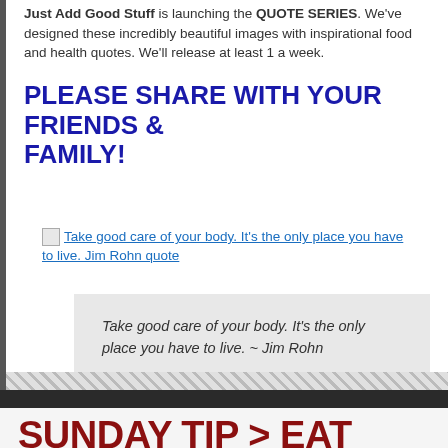Just Add Good Stuff is launching the QUOTE SERIES. We've designed these incredibly beautiful images with inspirational food and health quotes. We'll release at least 1 a week.
PLEASE SHARE WITH YOUR FRIENDS & FAMILY!
[Figure (other): Broken image placeholder with link text: Take good care of your body. It's the only place you have to live. Jim Rohn quote]
Take good care of your body. It's the only place you have to live. ~ Jim Rohn
SUNDAY TIP > EAT YOUR VEGGIES BECAUSE